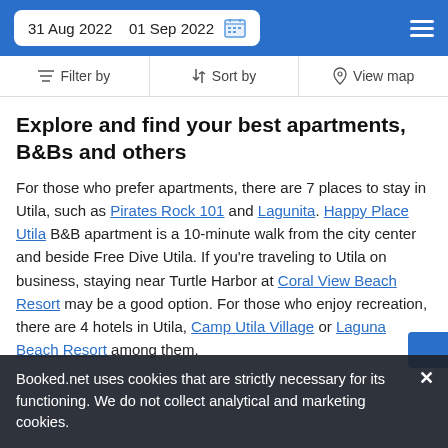31 Aug 2022   01 Sep 2022
Filter by   Sort by   View map
Explore and find your best apartments, B&Bs and others
For those who prefer apartments, there are 7 places to stay in Utila, such as Pirates Rock 101 and Lagunita. Happy Place Utila B&B apartment is a 10-minute walk from the city center and beside Free Dive Utila. If you're traveling to Utila on business, staying near Turtle Harbor at Coral View Beach Resort may be a good option. For those who enjoy recreation, there are 4 hotels in Utila, Camp Utila Village or Laguna Beach Resort among them.
Booked.net uses cookies that are strictly necessary for its functioning. We do not collect analytical and marketing cookies.